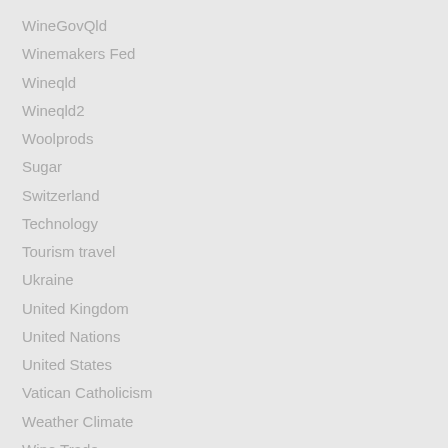WineGovQld
Winemakers Fed
Wineqld
Wineqld2
Woolprods
Sugar
Switzerland
Technology
Tourism travel
Ukraine
United Kingdom
United Nations
United States
Vatican Catholicism
Weather Climate
Wine Trade
Women
Youth
Youth Affairs